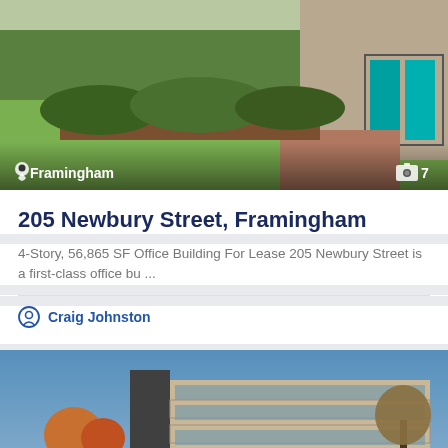[Figure (photo): Exterior photo of 205 Newbury Street office building in Framingham, showing green lawn and shrubs with brick entryway and teal doors]
Framingham  📷 7
205 Newbury Street, Framingham
4-Story, 56,865 SF Office Building For Lease 205 Newbury Street is a first-class office bu ...
Craig Johnston
[Figure (photo): Exterior photo of a multi-story office building with concrete facade and glass windows, surrounded by autumn trees against a blue sky]